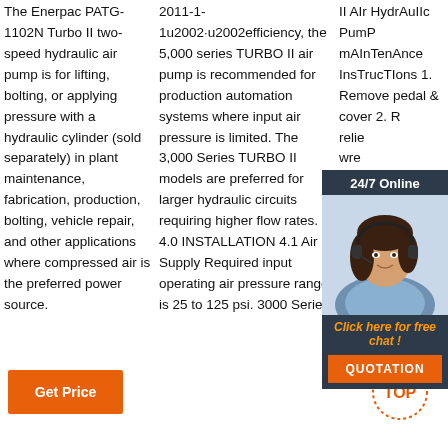The Enerpac PATG-1102N Turbo II two-speed hydraulic air pump is for lifting, bolting, or applying pressure with a hydraulic cylinder (sold separately) in plant maintenance, fabrication, production, bolting, vehicle repair, and other applications where compressed air is the preferred power source.
2011-1-1u2002·u2002efficiency, the 5,000 series TURBO II air pump is recommended for production automation systems where input air pressure is limited. The 3,000 Series TURBO II models are preferred for larger hydraulic circuits requiring higher flow rates. 4.0 INSTALLATION 4.1 Air Supply Required input operating air pressure range is 25 to 125 psi. 3000 Series
II AIr HydrAuIIc PumP mAInTenAnce InsTrucTIons 1. Remove pedal & cover 2. R... relie... wre... hydr... Rein... relie... lbs) ... on 6... butt... Down together for about 15 seconds. This will cycle fluid within the pump
[Figure (photo): Chat widget overlay with a woman wearing a headset, dark background panel showing '24/7 Online', 'Click here for free chat!' text in orange, and a QUOTATION button in orange.]
Get Price